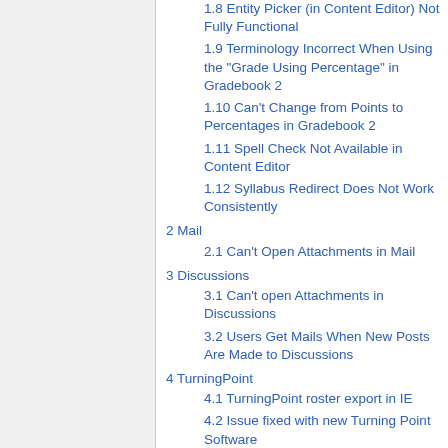1.8 Entity Picker (in Content Editor) Not Fully Functional
1.9 Terminology Incorrect When Using the "Grade Using Percentage" in Gradebook 2
1.10 Can't Change from Points to Percentages in Gradebook 2
1.11 Spell Check Not Available in Content Editor
1.12 Syllabus Redirect Does Not Work Consistently
2 Mail
2.1 Can't Open Attachments in Mail
3 Discussions
3.1 Can't open Attachments in Discussions
3.2 Users Get Mails When New Posts Are Made to Discussions
4 TurningPoint
4.1 TurningPoint roster export in IE
4.2 Issue fixed with new Turning Point Software
4.3 TurningPoint Import Problems
4.4 Issue fixed with new Turning Point